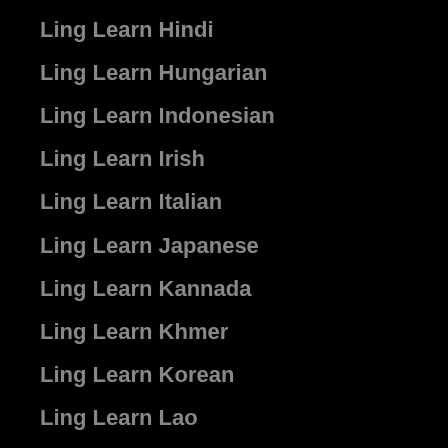Ling Learn Hindi
Ling Learn Hungarian
Ling Learn Indonesian
Ling Learn Irish
Ling Learn Italian
Ling Learn Japanese
Ling Learn Kannada
Ling Learn Khmer
Ling Learn Korean
Ling Learn Lao